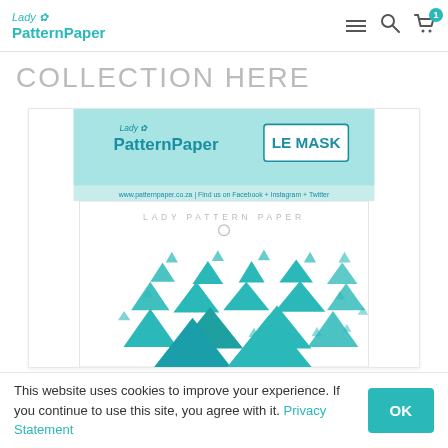Lady PatternPaper — navigation header with hamburger menu, search, and cart icons
COLLECTION HERE
[Figure (photo): Lady PatternPaper LE MASK product packaging showing a white square mask with teal/turquoise triangles of various sizes scattered across it. The header shows the Lady PatternPaper logo and LE MASK label, with website www.patternpaper.co.za and social media links.]
This website uses cookies to improve your experience. If you continue to use this site, you agree with it. Privacy Statement